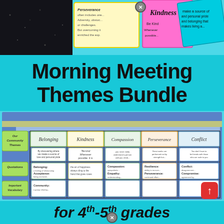[Figure (photo): Top strip showing colorful educational worksheets/activity cards with text about perseverance, kindness, and belonging on a dark background]
Morning Meeting Themes Bundle
[Figure (photo): Classroom bulletin board display showing a 'Morning Meeting Themes Bundle' anchor chart with columns for Belonging, Kindness, Compassion, Perseverance, Conflict — with rows for theme cards, quotations, and important vocabulary. Tabs on left side labeled 'Our Community Themes', 'Quotations', 'Important Vocabulary'.]
for 4th-5th grades